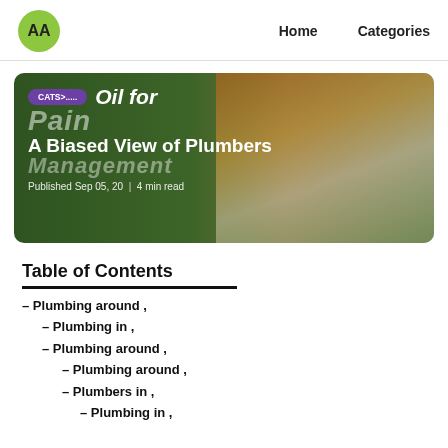AA  Home  Categories
[Figure (photo): Hero banner image showing essential oil bottles with green plant leaves background. Overlay text: CATS>..... Oil for Pain Management. Title: A Biased View of Plumbers. Published Sep 05, 20 | 4 min read]
Table of Contents
– Plumbing around ,
– Plumbing in ,
– Plumbing around ,
– Plumbing around ,
– Plumbers in ,
– Plumbing in ,